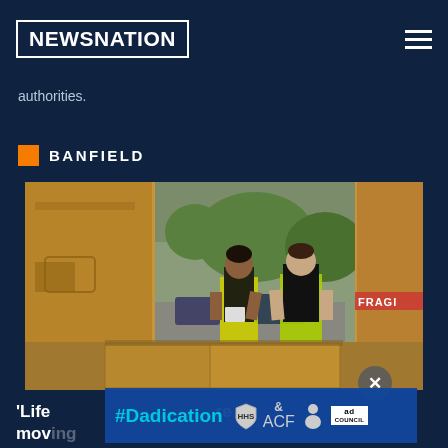NEWSNATION
authorities.
BANFIELD
[Figure (photo): Two workers in yellow high-visibility vests handling cardboard boxes, viewed from inside a moving truck. One box has 'FRAGILE' tape. Street and trees visible in background.]
'Life  re moving
[Figure (infographic): Ad banner showing #Dadication campaign with ACF and Ad Council logos]